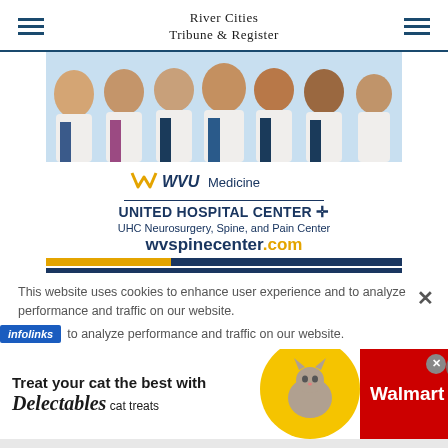River Cities Tribune & Register
[Figure (illustration): WVU Medicine United Hospital Center advertisement showing seven doctors/physicians in white coats against a light blue background, with WVU Medicine logo, United Hospital Center heading with cross symbol, UHC Neurosurgery Spine and Pain Center subtitle, and wvspinecenter.com URL]
This website uses cookies to enhance user experience and to analyze performance and traffic on our website.
[Figure (illustration): Walmart advertisement for Delectables cat treats featuring text 'Treat your cat the best with Delectables cat treats', a yellow circle with a cat image, and Walmart logo on red background]